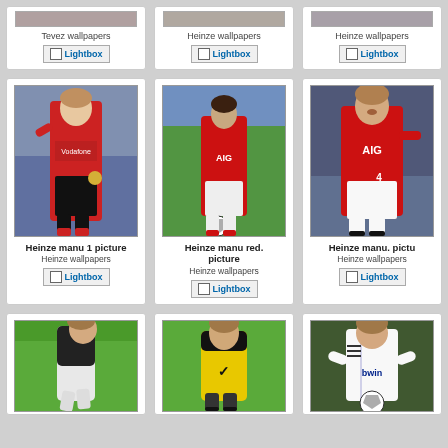[Figure (photo): Partial top row - Tevez wallpapers card with Lightbox button]
Tevez wallpapers
[Figure (photo): Partial top row - Heinze wallpapers card with Lightbox button]
Heinze wallpapers
[Figure (photo): Partial top row - Heinze wallpapers card with Lightbox button]
Heinze wallpapers
[Figure (photo): Heinze manu 1 picture - soccer player in red Manchester United kit]
Heinze manu 1 picture
Heinze wallpapers
[Figure (photo): Heinze manu red. picture - soccer player in red Manchester United kit dribbling]
Heinze manu red. picture
Heinze wallpapers
[Figure (photo): Heinze manu. picture - soccer player in red AIG Manchester United kit]
Heinze manu. pictu...
Heinze wallpapers
[Figure (photo): Heinze in white training kit on green pitch]
[Figure (photo): Heinze in yellow bib training on green pitch]
[Figure (photo): Heinze in Real Madrid white bwin kit]